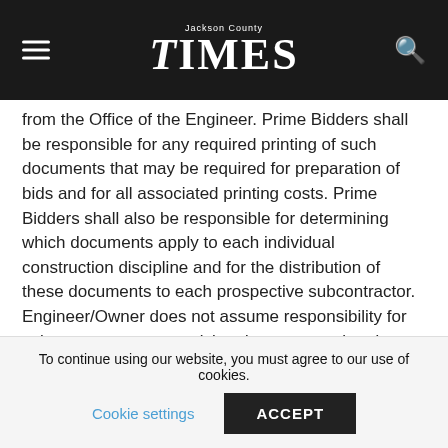Jackson County Times
from the Office of the Engineer. Prime Bidders shall be responsible for any required printing of such documents that may be required for preparation of bids and for all associated printing costs. Prime Bidders shall also be responsible for determining which documents apply to each individual construction discipline and for the distribution of these documents to each prospective subcontractor. Engineer/Owner does not assume responsibility for subcontractors not receiving documents related to their discipline. Contact information for securing contract documents is as follows: The Issuing Office for the Bidding Documents is: Alday-Howell Engineering, Inc.
To continue using our website, you must agree to our use of cookies. Cookie settings ACCEPT